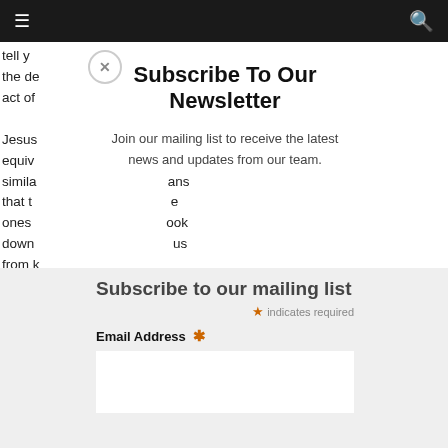☰  [nav bar]  🔍
tell y...                               for
the de...                              ate
act of ...
[Figure (screenshot): Close button (X) circle icon on modal overlay]
Subscribe To Our Newsletter
Join our mailing list to receive the latest news and updates from our team.
Subscribe to our mailing list
* indicates required
Email Address *
[email input field]